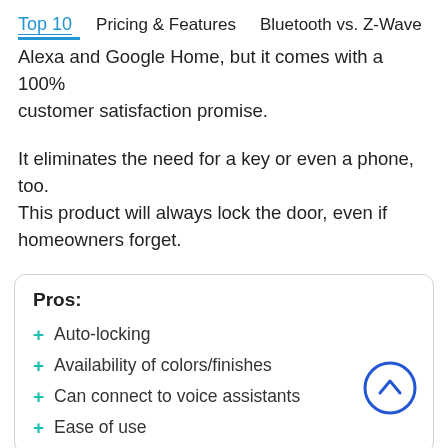Top 10   Pricing & Features   Bluetooth vs. Z-Wave
Alexa and Google Home, but it comes with a 100% customer satisfaction promise.
It eliminates the need for a key or even a phone, too. This product will always lock the door, even if homeowners forget.
Pros:
Auto-locking
Availability of colors/finishes
Can connect to voice assistants
Ease of use